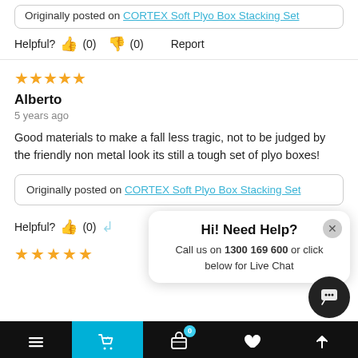Helpful? (0) (0) Report
[Figure (other): 5-star rating (orange stars)]
Alberto
5 years ago
Good materials to make a fall less tragic, not to be judged by the friendly non metal look its still a tough set of plyo boxes!
Originally posted on CORTEX Soft Plyo Box Stacking Set
Helpful? (0)
[Figure (other): 5-star rating (orange stars) — partial view]
[Figure (other): Chat popup: Hi! Need Help? Call us on 1300 169 600 or click below for Live Chat]
[Figure (other): Bottom navigation bar with hamburger, cart (cyan), basket with badge 0, heart, and up-arrow icons]